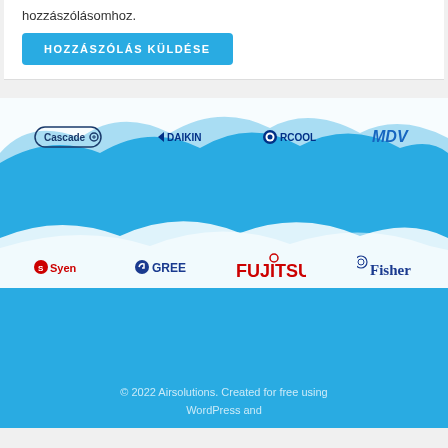hozzászólásomhoz.
HOZZÁSZÓLÁS KÜLDÉSE
[Figure (logo): Brand logos on blue background with white cloud paint strokes: Cascade, Daikin, Rcool, MDV in top row; Syen, Gree, Fujitsu, Fisher in bottom row]
© 2022 Airsolutions. Created for free using WordPress and